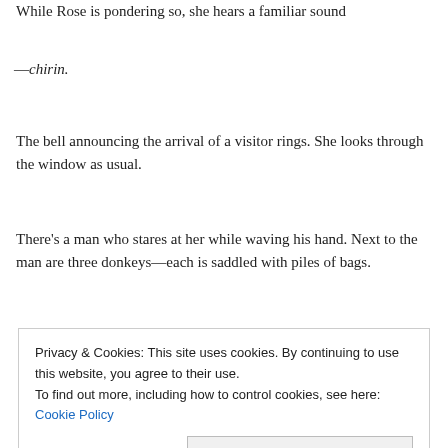While Rose is pondering so, she hears a familiar sound
—chirin.
The bell announcing the arrival of a visitor rings. She looks through the window as usual.
There's a man who stares at her while waving his hand. Next to the man are three donkeys—each is saddled with piles of bags.
Privacy & Cookies: This site uses cookies. By continuing to use this website, you agree to their use.
To find out more, including how to control cookies, see here: Cookie Policy
Close and accept